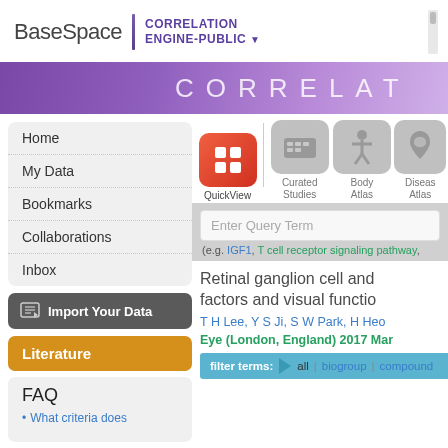[Figure (screenshot): BaseSpace Correlation Engine-Public web application header with logo and purple divider]
[Figure (screenshot): Purple gradient banner with CORRELAT text]
Home
My Data
Bookmarks
Collaborations
Inbox
Import Your Data
Literature
FAQ
What criteria does
[Figure (screenshot): Icon toolbar with QuickView (active/red), Curated Studies, Body Atlas, Disease Atlas icons]
Enter Query Term
(e.g. IGF1, T cell receptor signaling pathway,
Retinal ganglion cell and factors and visual functio
T H Lee, Y S Ji, S W Park, H Heo
Eye (London, England) 2017 Mar
filter terms: all | biogroup | compound